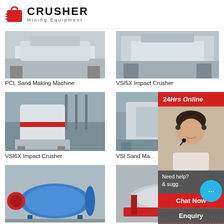[Figure (logo): Crusher Mining Equipment logo with red shopping bag icon and bold CRUSHER text]
[Figure (photo): PCL Sand Making Machine - white industrial machine in factory]
[Figure (photo): VSI5X Impact Crusher - white industrial crusher machine]
PCL Sand Making Machine
VSI5X Impact Crusher
[Figure (photo): VSI6X Impact Crusher - large white and red crusher machine in warehouse]
[Figure (photo): VSI Sand Making Machine - white industrial machine]
VSI6X Impact Crusher
VSI Sand Ma...
[Figure (photo): Ball mill machine - large blue cylindrical mill with red opening]
[Figure (photo): Industrial roller/drum machine - silver/grey cylindrical machine on red frame]
[Figure (infographic): 24Hrs Online sidebar with agent photo, Need help chat bubble, Chat Now button, Enquiry section, limingjlmofen@sina.com email]